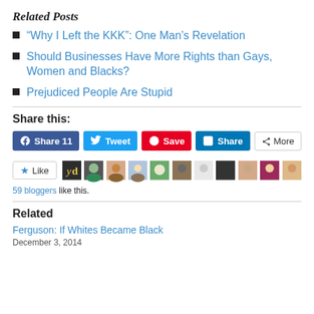Related Posts
“Why I Left the KKK”: One Man’s Revelation
Should Businesses Have More Rights than Gays, Women and Blacks?
Prejudiced People Are Stupid
Share this:
[Figure (screenshot): Social share buttons: Facebook Share 11, Tweet, Pinterest Save, LinkedIn Share, More]
[Figure (screenshot): Like button and 9 blogger avatars, 59 bloggers like this.]
Related
Ferguson: If Whites Became Black
December 3, 2014